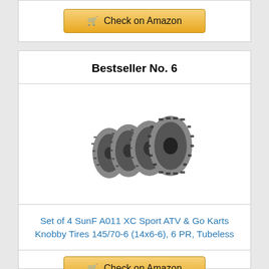Check on Amazon
Bestseller No. 6
[Figure (photo): Set of 4 SunF A011 knobby ATV tires arranged in a diagonal stack, showing the aggressive tread pattern]
Set of 4 SunF A011 XC Sport ATV & Go Karts Knobby Tires 145/70-6 (14x6-6), 6 PR, Tubeless
Check on Amazon